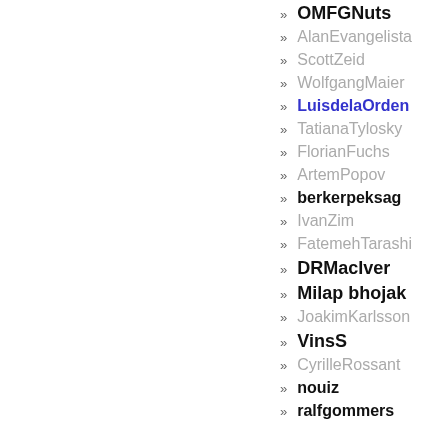» OMFGNuts
» AlanEvangelista
» ScottZeid
» WolfgangMaier
» LuisdelaOrden
» TatianaTylosky
» FlorianFuchs
» ArtemPopov
» berkerpeksag
» IvanZim
» FatemehTarashi
» DRMacIver
» Milap bhojak
» JoakimKarlsson
» VinsS
» CyrilleRossant
» nouiz
» ralfgommers